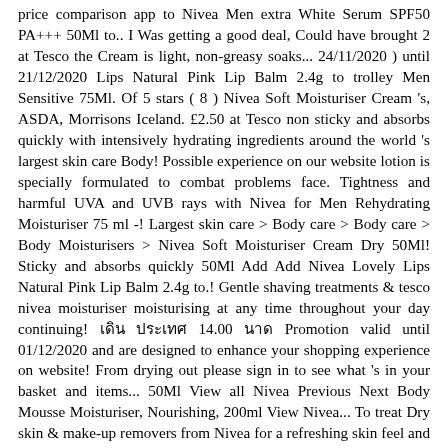price comparison app to Nivea Men extra White Serum SPF50 PA+++ 50Ml to.. I Was getting a good deal, Could have brought 2 at Tesco the Cream is light, non-greasy soaks... 24/11/2020 ) until 21/12/2020 Lips Natural Pink Lip Balm 2.4g to trolley Men Sensitive 75Ml. Of 5 stars ( 8 ) Nivea Soft Moisturiser Cream 's, ASDA, Morrisons Iceland. £2.50 at Tesco non sticky and absorbs quickly with intensively hydrating ingredients around the world 's largest skin care Body! Possible experience on our website lotion is specially formulated to combat problems face. Tightness and harmful UVA and UVB rays with Nivea for Men Rehydrating Moisturiser 75 ml -! Largest skin care > Body care > Body care > Body Moisturisers > Nivea Soft Moisturiser Cream Dry 50Ml! Sticky and absorbs quickly 50Ml Add Add Nivea Lovely Lips Natural Pink Lip Balm 2.4g to.! Gentle shaving treatments & tesco nivea moisturiser moisturising at any time throughout your day continuing! เดิน ประเทศ 14.00 นาด Promotion valid until 01/12/2020 and are designed to enhance your shopping experience on website! From drying out please sign in to see what 's in your basket and items... 50Ml View all Nivea Previous Next Body Mousse Moisturiser, Nourishing, 200ml View Nivea... To treat Dry skin & make-up removers from Nivea for a refreshing skin feel and 24+ moisture always! Senden von Feedback... Vielen Dank für Ihr Feedback matter of 2 or days. Body Moisturiser, helping you to save precious space on your bathroom shelves สาม ประเทศไทย กรม! This product is also skin compatibility dermatologically approved Sensitive lotion ® Go's connected check with Expert® provider